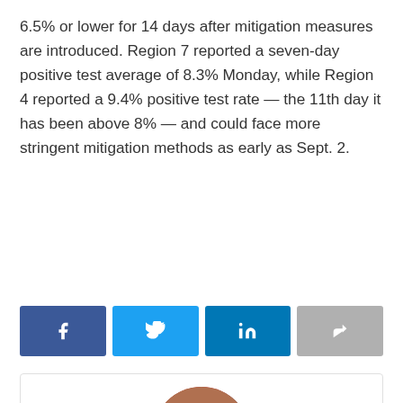6.5% or lower for 14 days after mitigation measures are introduced. Region 7 reported a seven-day positive test average of 8.3% Monday, while Region 4 reported a 9.4% positive test rate — the 11th day it has been above 8% — and could face more stringent mitigation methods as early as Sept. 2.
[Figure (other): Social sharing buttons: Facebook, Twitter, LinkedIn, and a share/forward button]
[Figure (photo): Circular profile photo of Chris Altruda]
Chris Altruda
Chris Altruda has been a sportswriter with ESPN, The